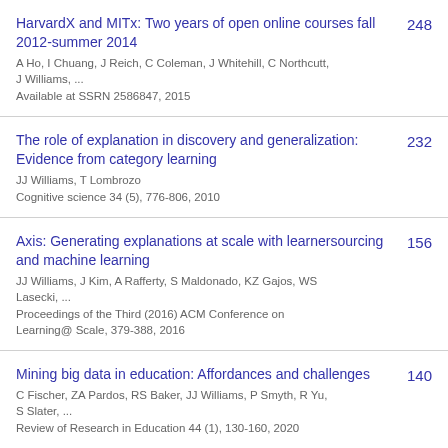HarvardX and MITx: Two years of open online courses fall 2012-summer 2014
A Ho, I Chuang, J Reich, C Coleman, J Whitehill, C Northcutt, J Williams, ...
Available at SSRN 2586847, 2015
248
The role of explanation in discovery and generalization: Evidence from category learning
JJ Williams, T Lombrozo
Cognitive science 34 (5), 776-806, 2010
232
Axis: Generating explanations at scale with learnersourcing and machine learning
JJ Williams, J Kim, A Rafferty, S Maldonado, KZ Gajos, WS Lasecki, ...
Proceedings of the Third (2016) ACM Conference on Learning@ Scale, 379-388, 2016
156
Mining big data in education: Affordances and challenges
C Fischer, ZA Pardos, RS Baker, JJ Williams, P Smyth, R Yu, S Slater, ...
Review of Research in Education 44 (1), 130-160, 2020
140